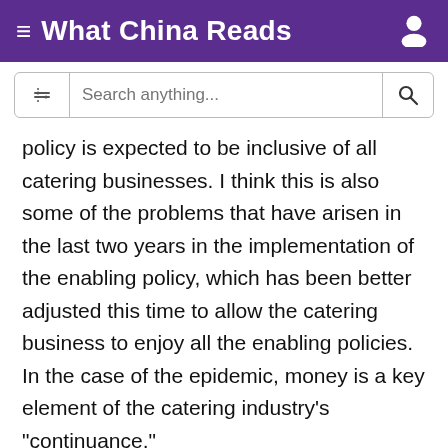≡ What China Reads
policy is expected to be inclusive of all catering businesses. I think this is also some of the problems that have arisen in the last two years in the implementation of the enabling policy, which has been better adjusted this time to allow the catering business to enjoy all the enabling policies. In the case of the epidemic, money is a key element of the catering industry's "continuance."
In the wake of the epidemic, funding has played a central role in the survival of the catering industry. Traditionally, the catering industry is a cash-flow-rich industry. At the same time, the catering industry is a sector with a narrow